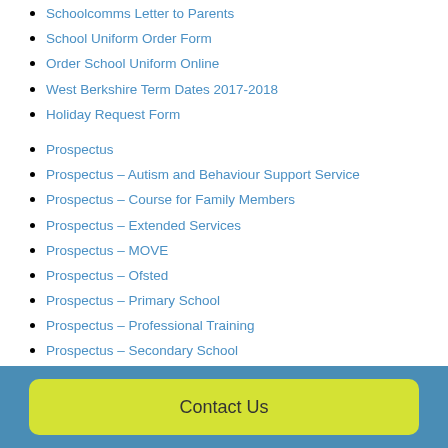Schoolcomms Letter to Parents
School Uniform Order Form
Order School Uniform Online
West Berkshire Term Dates 2017-2018
Holiday Request Form
Prospectus
Prospectus – Autism and Behaviour Support Service
Prospectus – Course for Family Members
Prospectus – Extended Services
Prospectus – MOVE
Prospectus – Ofsted
Prospectus – Primary School
Prospectus – Professional Training
Prospectus – Secondary School
Prospectus – Sensory Resource
Prospectus – Specialist Inclusion Support Service
Prospectus – Therapies
'Time to Start a New School' booklet
Contact Us